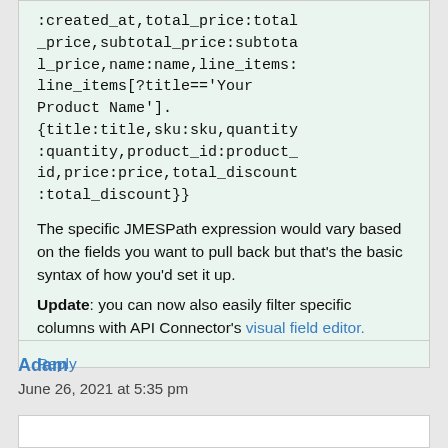:created_at,total_price:total_price,subtotal_price:subtotal_price,name:name,line_items:line_items[?title=='Your Product Name'].{title:title,sku:sku,quantity:quantity,product_id:product_id,price:price,total_discount:total_discount}}
The specific JMESPath expression would vary based on the fields you want to pull back but that's the basic syntax of how you'd set it up.
Update: you can now also easily filter specific columns with API Connector's visual field editor.
Reply
Adam
June 26, 2021 at 5:35 pm